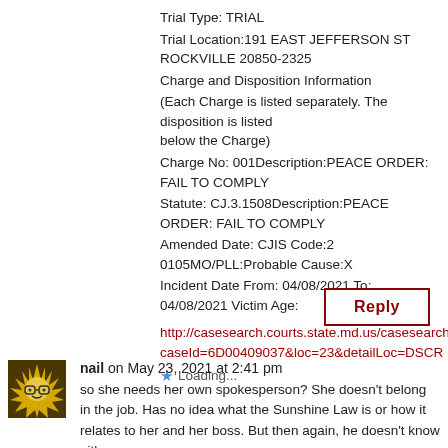Trial Type: TRIAL
Trial Location:191 EAST JEFFERSON ST ROCKVILLE 20850-2325
Charge and Disposition Information
(Each Charge is listed separately. The disposition is listed below the Charge)
Charge No: 001Description:PEACE ORDER: FAIL TO COMPLY
Statute: CJ.3.1508Description:PEACE ORDER: FAIL TO COMPLY
Amended Date: CJIS Code:2 0105MO/PLL:Probable Cause:X
Incident Date From: 04/08/2021 To: 04/08/2021 Victim Age:
http://casesearch.courts.state.md.us/casesearch/inquiryDetail.jis?caseId=6D00409037&loc=23&detailLoc=DSCR
Loading...
Reply
nail on May 23, 2021 at 2:41 pm
so she needs her own spokesperson? She doesn't belong in the job. Has no idea what the Sunshine Law is or how it relates to her and her boss. But then again, he doesn't know either.